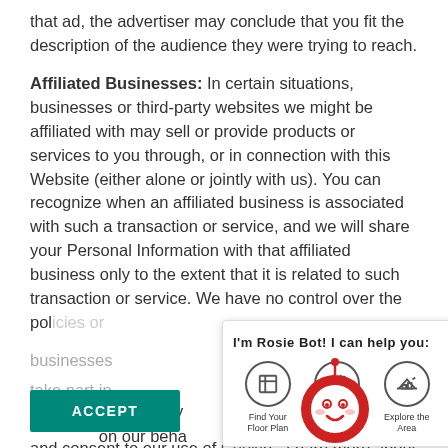that ad, the advertiser may conclude that you fit the description of the audience they were trying to reach.
Affiliated Businesses: In certain situations, businesses or third-party websites we might be affiliated with may sell or provide products or services to you through, or in connection with this Website (either alone or jointly with us). You can recognize when an affiliated business is associated with such a transaction or service, and we will share your Personal Information with that affiliated business only to the extent that it is related to such transaction or service. We have no control over the pol[icies or businesses] choose to take part in[...affiliated]. By continuin[...] ns of Use and consent to our use of Cooki[es]. Learn more about our use of cookies by viewing our Privacy Policy.
We might employ companies and people to on our behalf to share your Personal information with them to pro[vide] products or services to you.
[Figure (screenshot): Rosie Bot chat popup with options: Find Your Floor Plan, Schedule a Tour, Explore the Area, Ask a Question. The popup has an X close button and a robot mascot at the bottom.]